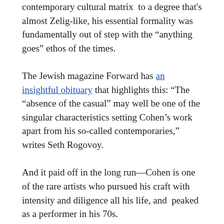contemporary cultural matrix  to a degree that's almost Zelig-like, his essential formality was fundamentally out of step with the “anything goes” ethos of the times.
The Jewish magazine Forward has an insightful obituary that highlights this: “The “absence of the casual” may well be one of the singular characteristics setting Cohen’s work apart from his so-called contemporaries,” writes Seth Rogovoy.
And it paid off in the long run—Cohen is one of the rare artists who pursued his craft with intensity and diligence all his life, and  peaked as a performer in his 70s.
In a surprising twist that serves as a hopeful beacon to us late bloomers, after his business